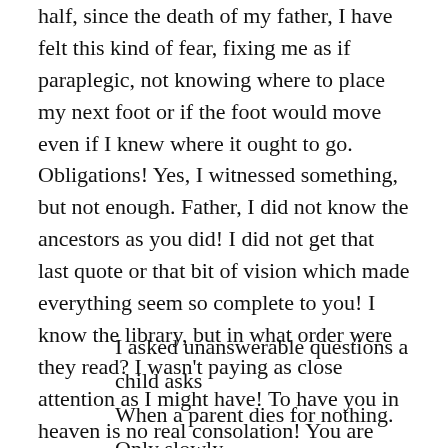half, since the death of my father, I have felt this kind of fear, fixing me as if paraplegic, not knowing where to place my next foot or if the foot would move even if I knew where it ought to go. Obligations! Yes, I witnessed something, but not enough. Father, I did not know the ancestors as you did! I did not get that last quote or that bit of vision which made everything seem so complete to you! I know the library, but in what order were they read? I wasn't paying as close attention as I might have! To have you in heaven is no real consolation! You are still not here!
I asked unanswerable questions a child asks
When a parent dies for nothing.
Only slowly